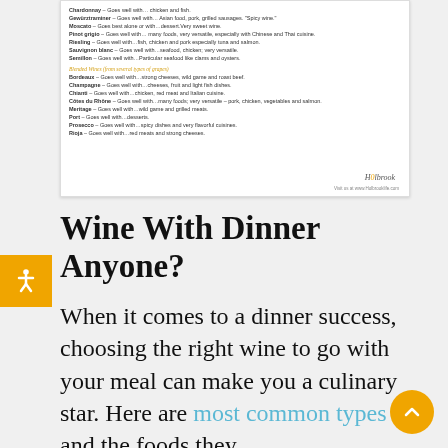[Figure (other): A blurred wine pairing guide document from Holbrook, listing white and blended wines with food pairing suggestions. Includes a logo and website URL.]
Wine With Dinner Anyone?
When it comes to a dinner success, choosing the right wine to go with your meal can make you a culinary star. Here are most common types and the foods they